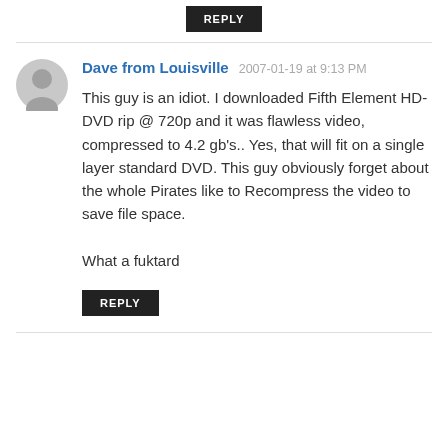REPLY
Dave from Louisville  2007-01-19 at 9:13 PM
This guy is an idiot. I downloaded Fifth Element HD-DVD rip @ 720p and it was flawless video, compressed to 4.2 gb's.. Yes, that will fit on a single layer standard DVD. This guy obviously forget about the whole Pirates like to Recompress the video to save file space.

What a fuktard
REPLY